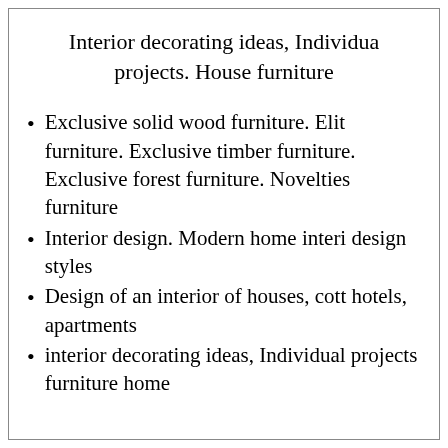Interior decorating ideas, Individual projects. House furniture
Exclusive solid wood furniture. Elite furniture. Exclusive timber furniture. Exclusive forest furniture. Novelties furniture
Interior design. Modern home interior design styles
Design of an interior of houses, cottages, hotels, apartments
interior decorating ideas, Individual projects furniture home